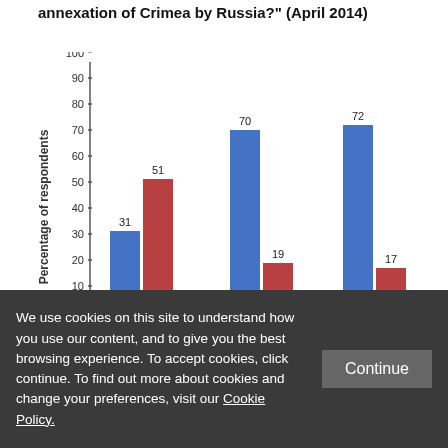annexation of Crimea by Russia?" (April 2014)
[Figure (grouped-bar-chart): annexation of Crimea by Russia? (April 2014)]
We use cookies on this site to understand how you use our content, and to give you the best browsing experience. To accept cookies, click continue. To find out more about cookies and change your preferences, visit our Cookie Policy.